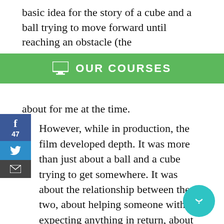basic idea for the story of a cube and a ball trying to move forward until reaching an obstacle (the
[Figure (infographic): Green banner with monitor icon and text OUR COURSES]
about for me at the time.
However, while in production, the film developed depth. It was more than just about a ball and a cube trying to get somewhere. It was about the relationship between the two, about helping someone without expecting anything in return, about friendship, and so on. The name Geometry Exercise just didn’t seem relevant anymore. Plus, it was a bit complex and dry. I needed more emotion.